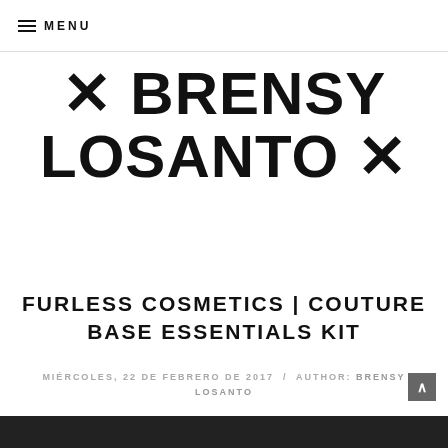≡ MENU
✕ BRENSY LOSANTO ✕
FURLESS COSMETICS | COUTURE BASE ESSENTIALS KIT
MIÉRCOLES, 22 DE FEBRERO DE 2017 / AUTHOR: BRENSY LOSANTO